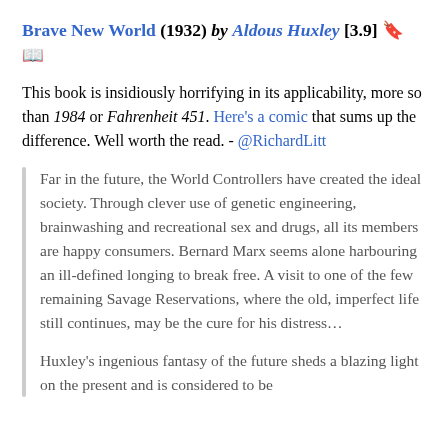Brave New World (1932) by Aldous Huxley [3.9] 🔖 📖
This book is insidiously horrifying in its applicability, more so than 1984 or Fahrenheit 451. Here's a comic that sums up the difference. Well worth the read. - @RichardLitt
Far in the future, the World Controllers have created the ideal society. Through clever use of genetic engineering, brainwashing and recreational sex and drugs, all its members are happy consumers. Bernard Marx seems alone harbouring an ill-defined longing to break free. A visit to one of the few remaining Savage Reservations, where the old, imperfect life still continues, may be the cure for his distress…
Huxley's ingenious fantasy of the future sheds a blazing light on the present and is considered to be